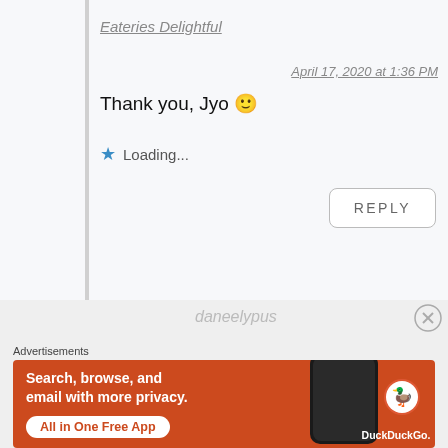Eateries Delightful
April 17, 2020 at 1:36 PM
Thank you, Jyo 🙂
★ Loading...
REPLY
daneelypus
Advertisements
[Figure (screenshot): DuckDuckGo advertisement banner with orange background showing 'Search, browse, and email with more privacy. All in One Free App' with DuckDuckGo logo and phone image]